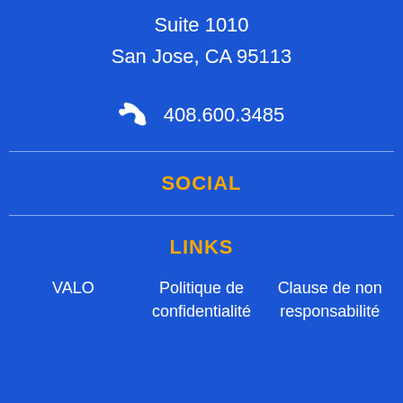Suite 1010
San Jose, CA 95113
408.600.3485
SOCIAL
LINKS
VALO
Politique de confidentialité
Clause de non responsabilité